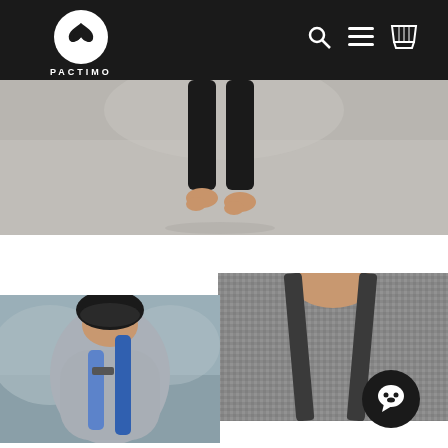PACTIMO
[Figure (photo): Bottom half of a person wearing black cycling tights, bare feet visible, standing on a light surface]
[Figure (photo): Close-up of a man wearing a grey cycling jersey with a helmet, viewed from behind, carrying a blue bag]
[Figure (photo): Close-up of a grey patterned cycling jersey with dark shoulder straps]
PAIR WITH